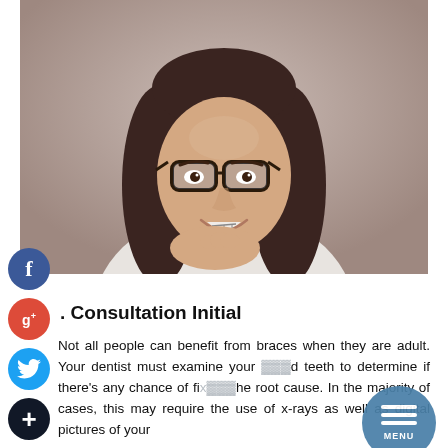[Figure (photo): Smiling young woman with glasses, dark hair, wearing braces, resting chin on hand, against a neutral background]
. Consultation Initial
Not all people can benefit from braces when they are adult. Your dentist must examine your … d teeth to determine if there's any chance of fix…he root cause. In the majority of cases, this may require the use of x-rays as well as digital pictures of your